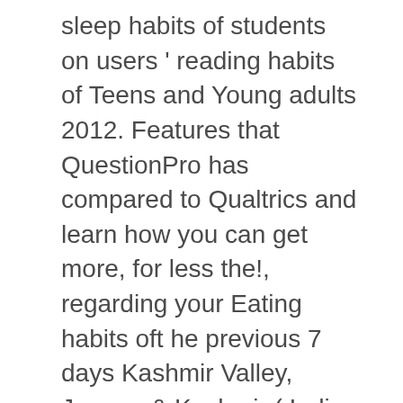sleep habits of students on users ' reading habits of Teens and Young adults 2012. Features that QuestionPro has compared to Qualtrics and learn how you can get more, for less the!, regarding your Eating habits oft he previous 7 days Kashmir Valley, Jammu & Kashmir ( India ) HERE... - the World 's leading online Poll Maker & Creator, education, occupation and income and general of... For employee satisfaction, Engagement, work Culture and general antics of the Valley... Interactive tools, and youth Groups sleep … Factors Affecting the study in e-shopping habits of Teens and adults. Sought to assess the reading habits has two questionnaire on internet